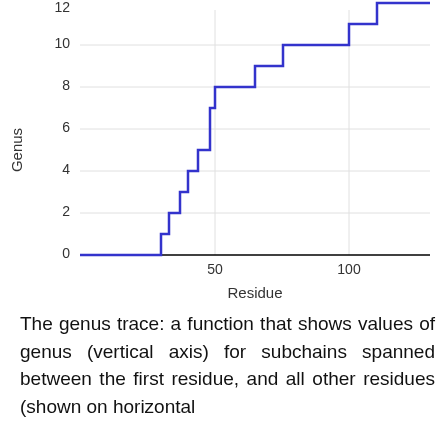[Figure (continuous-plot): A step function (genus trace) showing genus values on the y-axis (0 to ~12) versus residue on the x-axis (0 to ~120+). The line stays at 0 until about residue 30, then rises in steps to about 12 at the right edge. Y-axis labeled 'Genus', x-axis labeled 'Residue'. Gridlines at y=2,4,6,8,10 and x=50,100.]
The genus trace: a function that shows values of genus (vertical axis) for subchains spanned between the first residue, and all other residues (shown on horizontal